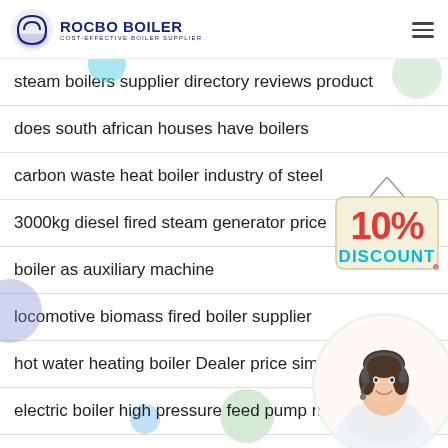ROCBO BOILER — COST-EFFECTIVE BOILER SUPPLIER
steam boilers supplier directory reviews product
does south african houses have boilers
carbon waste heat boiler industry of steel
3000kg diesel fired steam generator price
boiler as auxiliary machine
locomotive biomass fired boiler supplier
hot water heating boiler Dealer price sim
electric boiler high pressure feed pump ma
[Figure (illustration): 10% Discount badge — red and teal text on a cream tag hanging from a string]
[Figure (photo): Customer service representative woman wearing headset, circular crop]